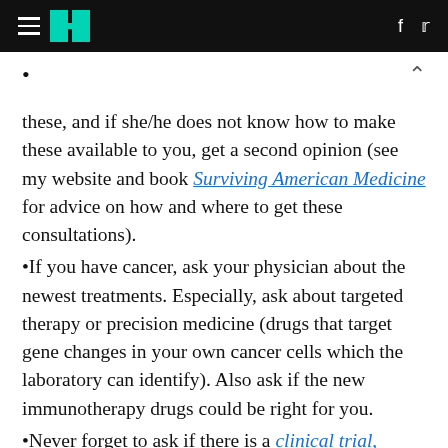HuffPost navigation with hamburger menu, logo, Facebook and Twitter icons
these, and if she/he does not know how to make these available to you, get a second opinion (see my website and book Surviving American Medicine for advice on how and where to get these consultations).
If you have cancer, ask your physician about the newest treatments. Especially, ask about targeted therapy or precision medicine (drugs that target gene changes in your own cancer cells which the laboratory can identify). Also ask if the new immunotherapy drugs could be right for you.
Never forget to ask if there is a clinical trial,